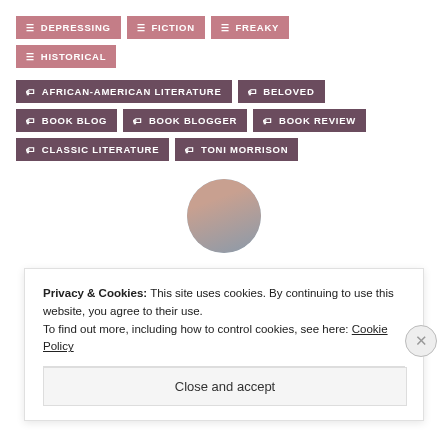DEPRESSING
FICTION
FREAKY
HISTORICAL
AFRICAN-AMERICAN LITERATURE
BELOVED
BOOK BLOG
BOOK BLOGGER
BOOK REVIEW
CLASSIC LITERATURE
TONI MORRISON
[Figure (photo): Circular avatar photo of a person with reddish-brown hair]
Privacy & Cookies: This site uses cookies. By continuing to use this website, you agree to their use.
To find out more, including how to control cookies, see here: Cookie Policy
Close and accept